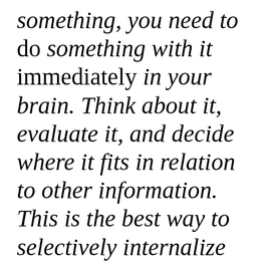something, you need to do something with it immediately in your brain. Think about it, evaluate it, and decide where it fits in relation to other information. This is the best way to selectively internalize or filter it.